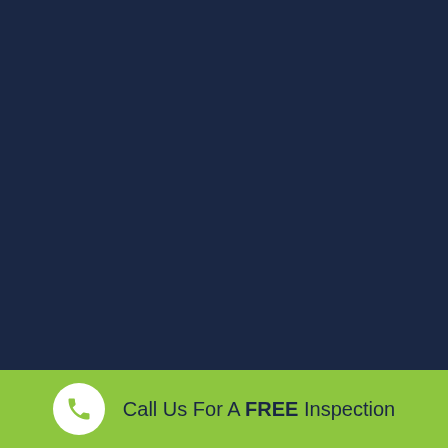WHEN YOUR DOORBELL RINGS IN LANCASTER, YOU CAN
FEEL CONFIDENT YOUR FOX PEST CONTROL TECHNICIAN IS THOROUGHLY SCREENED AND TRAINED.
We insist on a triple check screening process to ensure the safety of our customers.
All Technicians undergo a drug screening and driving record review.
Fox Pest Control Technicians also complete extensive training in the classroom and on the job with an experienced mentor before servicing alone.
You'll always feel comfortable and safe with Fox Pest Control.
Call Us For A FREE Inspection